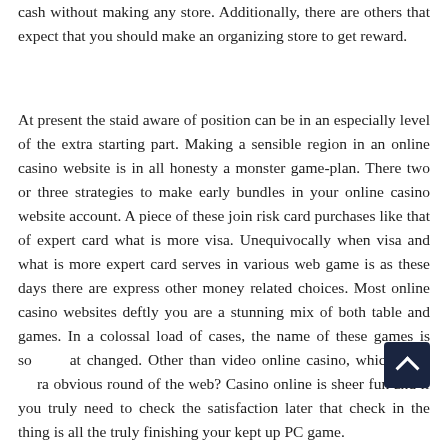cash without making any store. Additionally, there are others that expect that you should make an organizing store to get reward.
At present the staid aware of position can be in an especially level of the extra starting part. Making a sensible region in an online casino website is in all honesty a monster game-plan. There two or three strategies to make early bundles in your online casino website account. A piece of these join risk card purchases like that of expert card what is more visa. Unequivocally when visa and what is more expert card serves in various web game is as these days there are express other money related choices. Most online casino websites deftly you are a stunning mix of both table and games. In a colossal load of cases, the name of these games is so at changed. Other than video online casino, which is a ra obvious round of the web? Casino online is sheer fun and if you truly need to check the satisfaction later that check in the thing is all the truly finishing your kept up PC game.